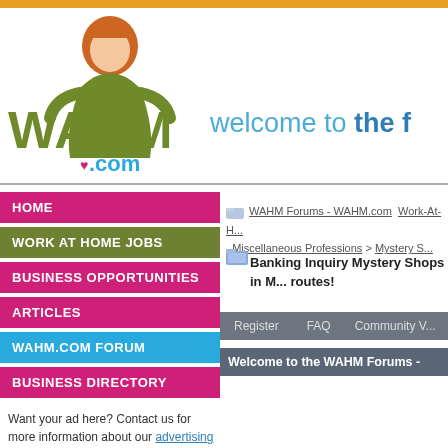[Figure (logo): WAHM.com logo with green text and stylized woman figure with orange hair, pink heart, and blue .com text]
welcome to the f
HOME
WORK AT HOME JOBS
BUSINESS OPPORTUNITIES
ARTICLES
WAHM.COM FORUM
BUSINESS DIRECTORY
Want your ad here? Contact us for more information about our advertising opportunities
WAHM Forums - WAHM.com  Work-At-Ho... > Miscellaneous Professions > Mystery S...
Banking Inquiry Mystery Shops in M... routes!
Register   FAQ   Community V...
Welcome to the WAHM Forums -